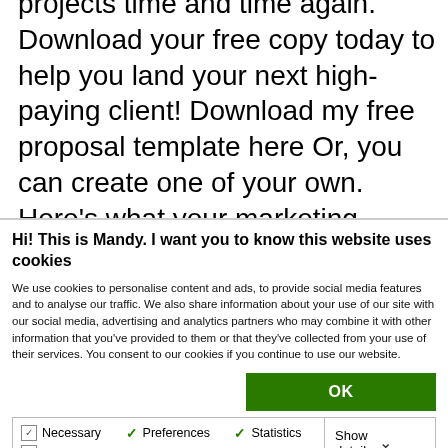projects time and time again. Download your free copy today to help you land your next high-paying client! Download my free proposal template here Or, you can create one of your own. Here's what your marketing proposal needs to include:
Hi! This is Mandy. I want you to know this website uses cookies
We use cookies to personalise content and ads, to provide social media features and to analyse our traffic. We also share information about your use of our site with our social media, advertising and analytics partners who may combine it with other information that you've provided to them or that they've collected from your use of their services. You consent to our cookies if you continue to use our website.